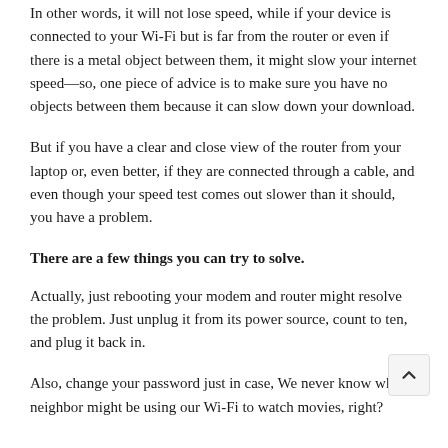In other words, it will not lose speed, while if your device is connected to your Wi-Fi but is far from the router or even if there is a metal object between them, it might slow your internet speed—so, one piece of advice is to make sure you have no objects between them because it can slow down your download.
But if you have a clear and close view of the router from your laptop or, even better, if they are connected through a cable, and even though your speed test comes out slower than it should, you have a problem.
There are a few things you can try to solve.
Actually, just rebooting your modem and router might resolve the problem. Just unplug it from its power source, count to ten, and plug it back in.
Also, change your password just in case, We never know whe. neighbor might be using our Wi-Fi to watch movies, right?